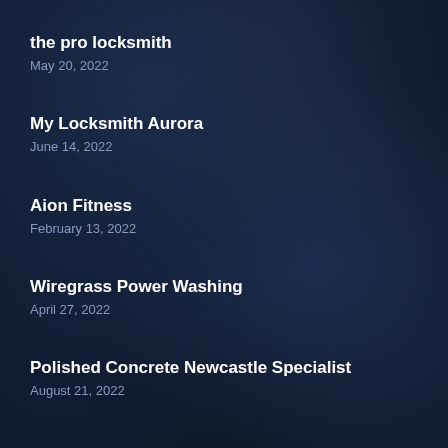the pro locksmith
May 20, 2022
My Locksmith Aurora
June 14, 2022
Aion Fitness
February 13, 2022
Wiregrass Power Washing
April 27, 2022
Polished Concrete Newcastle Specialist
August 21, 2022